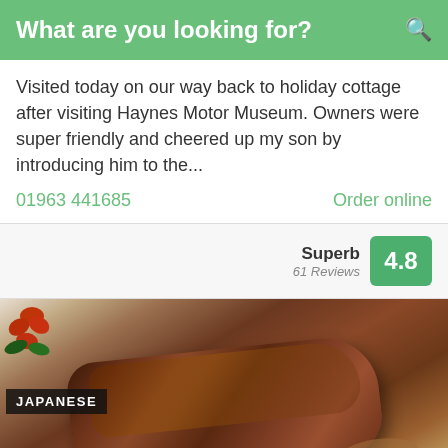What are you looking for?
Visited today on our way back to holiday cottage after visiting Haynes Motor Museum. Owners were super friendly and cheered up my son by introducing him to the...
01963 441685    Order online
Superb 61 Reviews 4.8
[Figure (photo): Japanese food dish — sliced meat with glaze/sauce on a white plate with red flower garnish, with a JAPANESE label tag overlay]